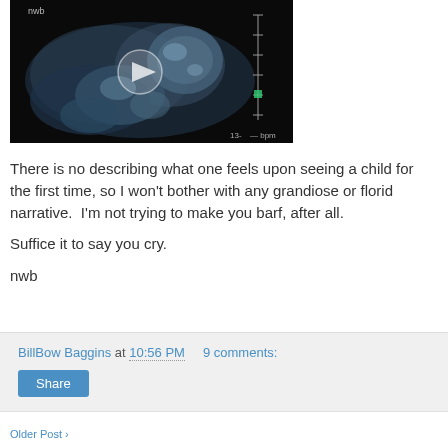[Figure (photo): Ultrasound video thumbnail showing a fetus with a play button overlay in the center. The image is dark with blue-gray tones typical of sonography. A measurement scale is visible on the right side.]
There is no describing what one feels upon seeing a child for the first time, so I won't bother with any grandiose or florid narrative.  I'm not trying to make you barf, after all.

Suffice it to say you cry.

nwb
BillBow Baggins at 10:56 PM   9 comments:
Share